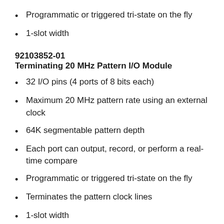Programmatic or triggered tri-state on the fly
1-slot width
92103852-01
Terminating 20 MHz Pattern I/O Module
32 I/O pins (4 ports of 8 bits each)
Maximum 20 MHz pattern rate using an external clock
64K segmentable pattern depth
Each port can output, record, or perform a real-time compare
Programmatic or triggered tri-state on the fly
Terminates the pattern clock lines
1-slot width
92103855-03